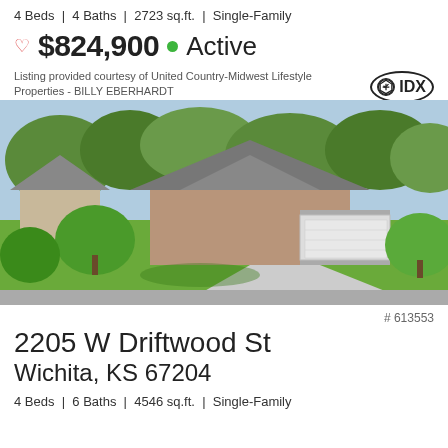4 Beds | 4 Baths | 2723 sq.ft. | Single-Family
♡ $824,900 ● Active
Listing provided courtesy of United Country-Midwest Lifestyle Properties - BILLY EBERHARDT
[Figure (photo): Aerial/elevated view of a single-family brick home with gray roof, white garage door, paved driveway, and lush green lawn with trees]
# 613553
2205 W Driftwood St
Wichita, KS 67204
4 Beds | 6 Baths | 4546 sq.ft. | Single-Family